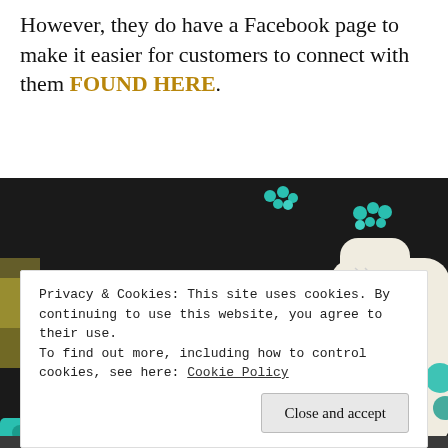However, they do have a Facebook page to make it easier for customers to connect with them FOUND HERE.
[Figure (photo): Two jewelry display mannequin busts showing turquoise beaded necklaces and silver chain necklaces with gemstone pendants and pearl accents on a dark background.]
Privacy & Cookies: This site uses cookies. By continuing to use this website, you agree to their use.
To find out more, including how to control cookies, see here: Cookie Policy
Close and accept